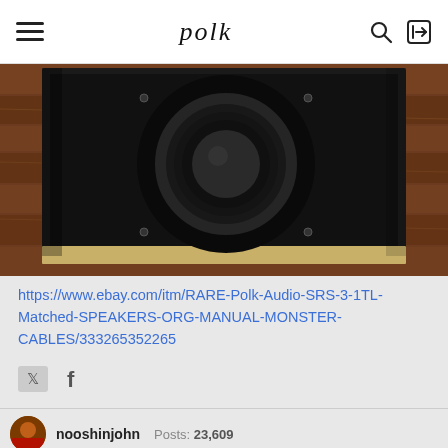polk
[Figure (photo): A black subwoofer speaker with a circular driver, sitting on a wooden floor. The speaker cabinet is black with a light wood/MDF base.]
https://www.ebay.com/itm/RARE-Polk-Audio-SRS-3-1TL-Matched-SPEAKERS-ORG-MANUAL-MONSTER-CABLES/333265352265
[Figure (infographic): Twitter and Facebook social share icons]
nooshinjohn  Posts: 23,609